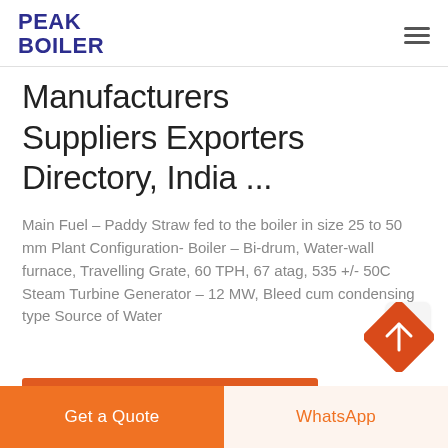PEAK BOILER
Manufacturers Suppliers Exporters Directory, India ...
Main Fuel – Paddy Straw fed to the boiler in size 25 to 50 mm Plant Configuration- Boiler – Bi-drum, Water-wall furnace, Travelling Grate, 60 TPH, 67 atag, 535 +/- 50C Steam Turbine Generator – 12 MW, Bleed cum condensing type Source of Water